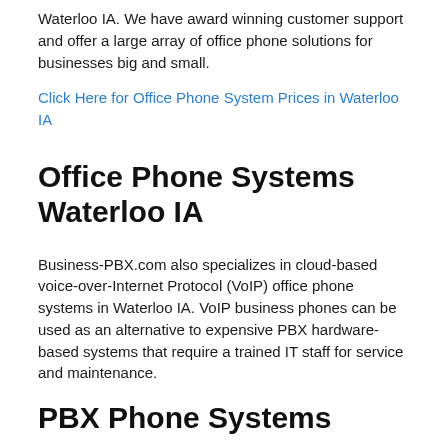Waterloo IA. We have award winning customer support and offer a large array of office phone solutions for businesses big and small.
Click Here for Office Phone System Prices in Waterloo IA
Office Phone Systems Waterloo IA
Business-PBX.com also specializes in cloud-based voice-over-Internet Protocol (VoIP) office phone systems in Waterloo IA. VoIP business phones can be used as an alternative to expensive PBX hardware-based systems that require a trained IT staff for service and maintenance.
PBX Phone Systems